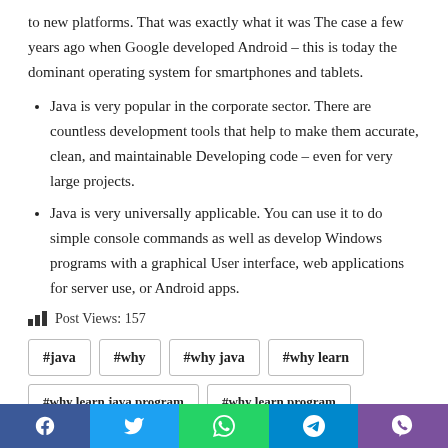to new platforms. That was exactly what it was The case a few years ago when Google developed Android – this is today the dominant operating system for smartphones and tablets.
Java is very popular in the corporate sector. There are countless development tools that help to make them accurate, clean, and maintainable Developing code – even for very large projects.
Java is very universally applicable. You can use it to do simple console commands as well as develop Windows programs with a graphical User interface, web applications for server use, or Android apps.
Post Views: 157
#java  #why  #why java  #why learn
#why learn java program  #why learn program
Facebook  Twitter  WhatsApp  Telegram  Viber